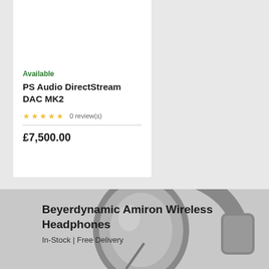Available
PS Audio DirectStream DAC MK2
0 review(s)
£7,500.00
[Figure (photo): Beyerdynamic Amiron Wireless Headphones photo, grayscale headphones image in background]
Beyerdynamic Amiron Wireless Headphones
In-Stock | Free Delivery